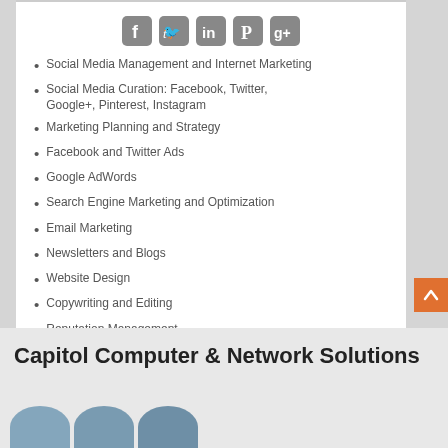[Figure (other): Row of 5 social media icon buttons (Facebook, Twitter, LinkedIn, Pinterest, Google+) in rounded gray squares]
Social Media Management and Internet Marketing
Social Media Curation: Facebook, Twitter, Google+, Pinterest, Instagram
Marketing Planning and Strategy
Facebook and Twitter Ads
Google AdWords
Search Engine Marketing and Optimization
Email Marketing
Newsletters and Blogs
Website Design
Copywriting and Editing
Reputation Management
Online Contests and Promotions
[Figure (logo): iSushman Consulting Group logo with green hand icon and italic text]
Capitol Computer & Network Solutions